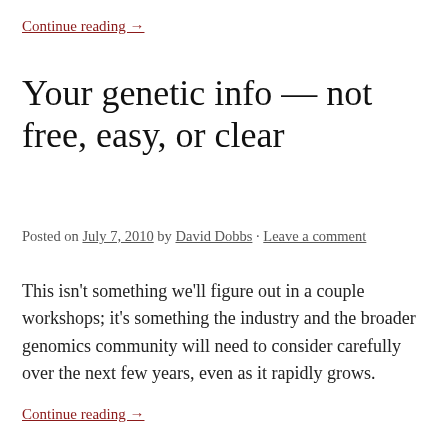Continue reading →
Your genetic info — not free, easy, or clear
Posted on July 7, 2010 by David Dobbs · Leave a comment
This isn't something we'll figure out in a couple workshops; it's something the industry and the broader genomics community will need to consider carefully over the next few years, even as it rapidly grows.
Continue reading →